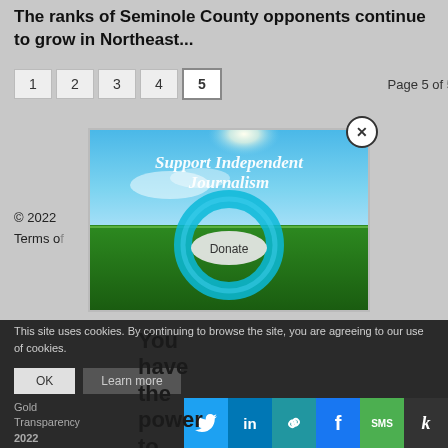The ranks of Seminole County opponents continue to grow in Northeast...
1  2  3  4  5   Page 5 of 5
© 2022
Terms of ...
[Figure (illustration): Support Independent Journalism modal popup with landscape photo of green field and blue sky, featuring a teal circular ring with 'Donate' button in center, and a close (X) button in top-right corner]
You have the power to inform...
This site uses cookies. By continuing to browse the site, you are agreeing to our use of cookies.
OK   Learn more
Gold Transparency 2022
[Figure (infographic): Social sharing icons: Twitter, LinkedIn, Link, Facebook, SMS, Kindle]